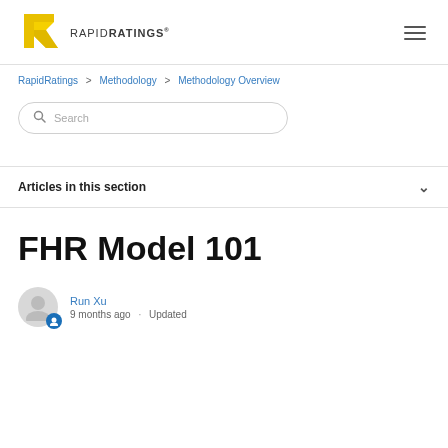[Figure (logo): RapidRatings logo: yellow stylized R icon with RAPIDRATINGS text]
RapidRatings > Methodology > Methodology Overview
Search
Articles in this section
FHR Model 101
Run Xu
9 months ago · Updated